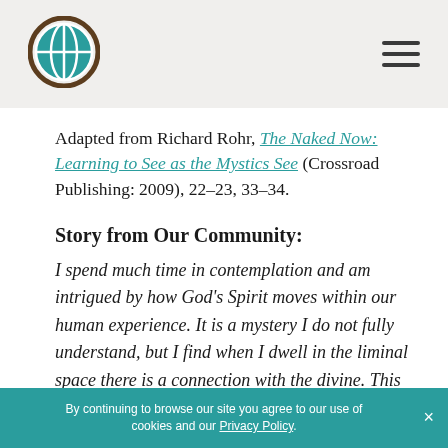[Logo: Center for Action and Contemplation globe icon] [Hamburger menu icon]
Adapted from Richard Rohr, The Naked Now: Learning to See as the Mystics See (Crossroad Publishing: 2009), 22–23, 33–34.
Story from Our Community:
I spend much time in contemplation and am intrigued by how God's Spirit moves within our human experience. It is a mystery I do not fully understand, but I find when I dwell in the liminal space there is a connection with the divine. This past
By continuing to browse our site you agree to our use of cookies and our Privacy Policy.